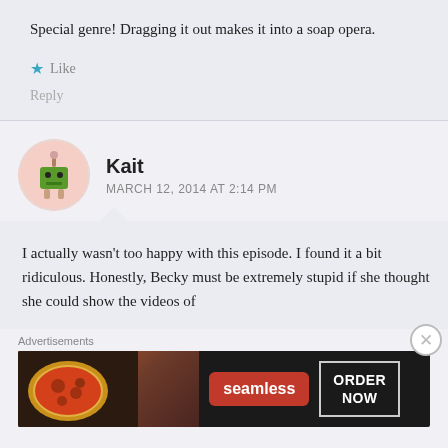Special genre! Dragging it out makes it into a soap opera.
Like
Reply
Kait
MARCH 12, 2014 AT 2:14 PM
I actually wasn't too happy with this episode. I found it a bit ridiculous. Honestly, Becky must be extremely stupid if she thought she could show the videos of
Advertisements
[Figure (other): Seamless food delivery advertisement banner showing pizza image on left, Seamless logo in red, and ORDER NOW button on right]